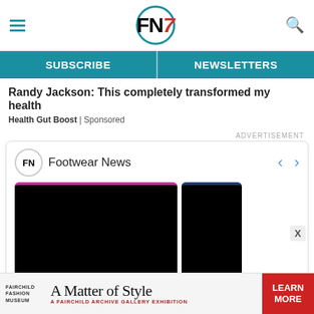FN7 — Footwear News header with hamburger menu and search icon
SUBSCRIBE | NEWSLETTERS navigation bar
Randy Jackson: This completely transformed my health
Health Gut Boost | Sponsored
ADVERTISEMENT
[Figure (screenshot): Footwear News Facebook/social widget showing FN logo, Footwear News name, navigation arrows, and two dark image cards with colored top borders (purple and dark blue)]
[Figure (photo): Bottom advertisement banner: Fairchild Fashion Museum — A Matter of Style — A Fairchild Archive Gallery Exhibition — with red LEARN MORE button and X close button]